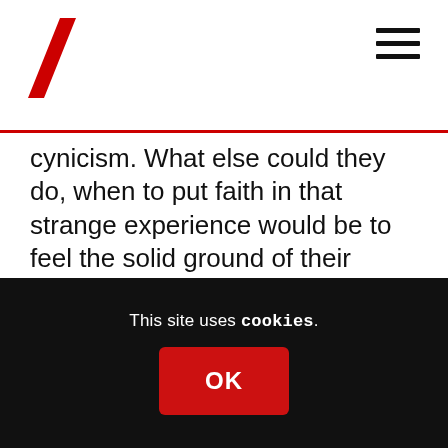cynicism. What else could they do, when to put faith in that strange experience would be to feel the solid ground of their status and all it cost them crumble beneath their feet?
To be touched, touched deeply, is not nothing – but nor is it always, or even often, enough. There's a reason they say the addict needs to hit rock bottom.
* * *
This site uses cookies. OK